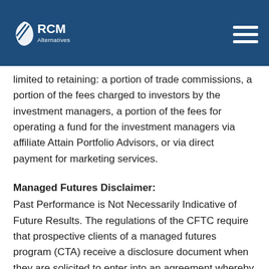RCM Alternatives
limited to retaining: a portion of trade commissions, a portion of the fees charged to investors by the investment managers, a portion of the fees for operating a fund for the investment managers via affiliate Attain Portfolio Advisors, or via direct payment for marketing services.
Managed Futures Disclaimer:
Past Performance is Not Necessarily Indicative of Future Results. The regulations of the CFTC require that prospective clients of a managed futures program (CTA) receive a disclosure document when they are solicited to enter into an agreement whereby the CTA will direct or guide the client's commodity interest trading and that certain risk factors be highlighted. Th